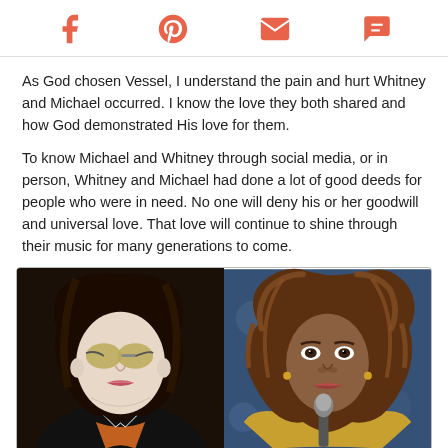Facebook | Pinterest | Email | Comment
As God chosen Vessel, I understand the pain and hurt Whitney and Michael occurred. I know the love they both shared and how God demonstrated His love for them.
To know Michael and Whitney through social media, or in person, Whitney and Michael had done a lot of good deeds for people who were in need. No one will deny his or her goodwill and universal love. That love will continue to shine through their music for many generations to come.
[Figure (photo): Side-by-side photos of Michael Jackson (left) and Whitney Houston (right)]